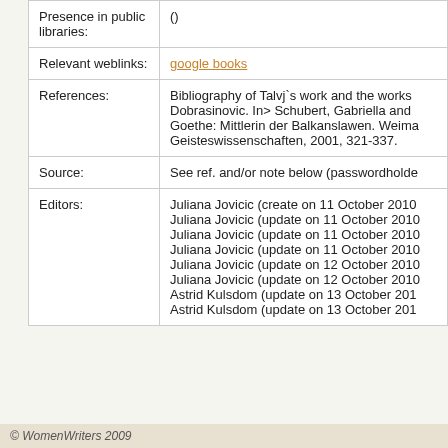| Field | Value |
| --- | --- |
| Presence in public libraries: | () |
| Relevant weblinks: | google books |
| References: | Bibliography of Talvj`s work and the works Dobrasinovic. In> Schubert, Gabriella and Goethe: Mittlerin der Balkanslawen. Weima Geisteswissenschaften, 2001, 321-337. |
| Source: | See ref. and/or note below (passwordholde |
| Editors: | Juliana Jovicic (create on 11 October 2010
Juliana Jovicic (update on 11 October 2010
Juliana Jovicic (update on 11 October 2010
Juliana Jovicic (update on 11 October 2010
Juliana Jovicic (update on 12 October 2010
Juliana Jovicic (update on 12 October 2010
Astrid Kulsdom (update on 13 October 201
Astrid Kulsdom (update on 13 October 201 |
© WomenWriters 2009